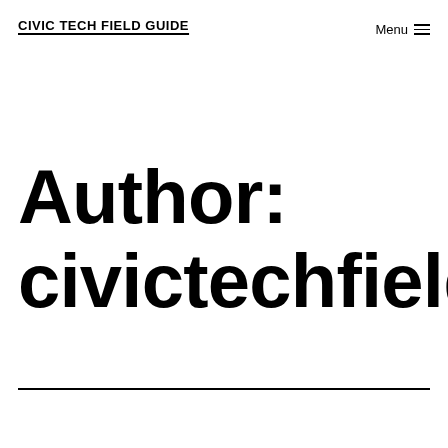CIVIC TECH FIELD GUIDE
Menu ≡
Author: civictechfield